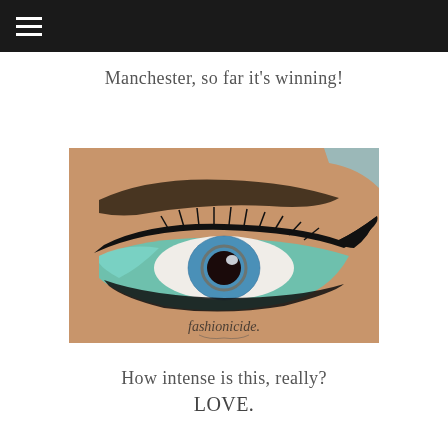≡
Manchester, so far it's winning!
[Figure (photo): Close-up photograph of a woman's eye with dramatic makeup: teal/mint eyeshadow and heavy black cat-eye eyeliner, blue contact lens, dark eyebrow. Watermark reads 'fashionicide.' in decorative script at the bottom of the image.]
How intense is this, really? LOVE.